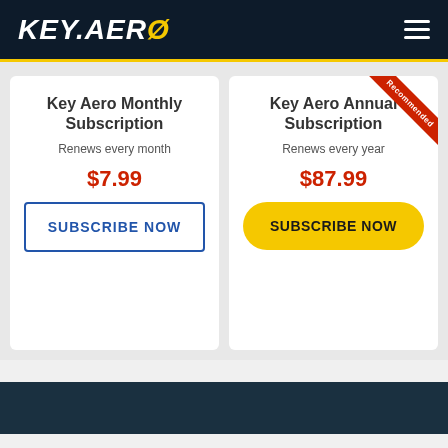KEY.AERO
Key Aero Monthly Subscription
Renews every month
$7.99
SUBSCRIBE NOW
Key Aero Annual Subscription
Renews every year
$87.99
SUBSCRIBE NOW